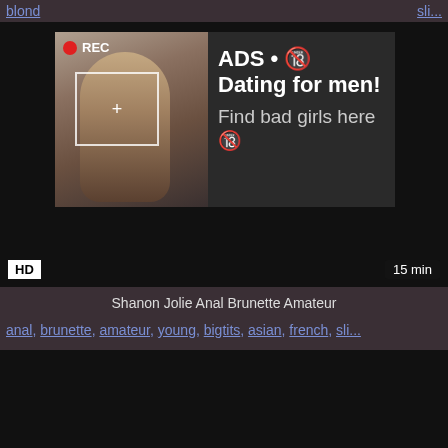blond... sli...
[Figure (screenshot): Dark video player with ad overlay showing a woman taking a selfie, REC indicator, focus frame. Ad text: ADS • Dating for men! Find bad girls here. HD badge bottom left, 15 min badge bottom right.]
Shanon Jolie Anal Brunette Amateur
anal, brunette, amateur, young, bigtits, asian, french, sli...
[Figure (screenshot): Dark video player thumbnail area at bottom of page.]